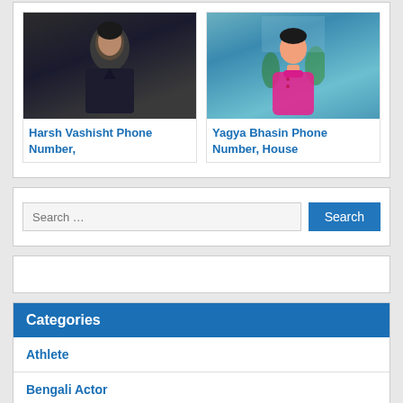[Figure (photo): Photo of Harsh Vashisht - adult male in dark clothing]
Harsh Vashisht Phone Number,
[Figure (photo): Photo of Yagya Bhasin - child in pink turtleneck]
Yagya Bhasin Phone Number, House
Search …
Search
Categories
Athlete
Bengali Actor
Bengali Actress